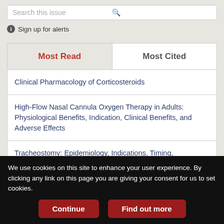Search this issue
Sign up for alerts
Most Read
Most Cited
Clinical Pharmacology of Corticosteroids
High-Flow Nasal Cannula Oxygen Therapy in Adults: Physiological Benefits, Indication, Clinical Benefits, and Adverse Effects
Tracheostomy: Epidemiology, Indications, Timing, Technique, and Outcomes
We use cookies on this site to enhance your user experience. By clicking any link on this page you are giving your consent for us to set cookies.